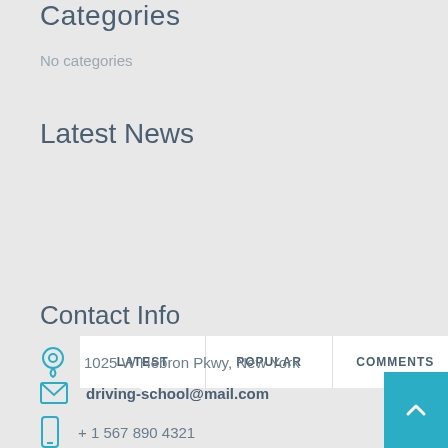Categories
No categories
Latest News
| LATEST | POPULAR | COMMENTS |
| --- | --- | --- |
Contact Info
1025 W Hebron Pkwy, New York
driving-school@mail.com
+ 1 567 890 4321